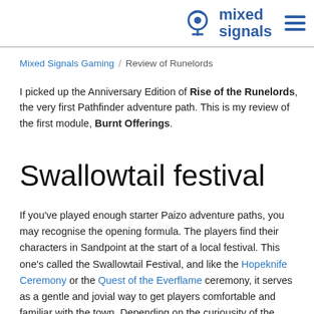mixed signals
Mixed Signals Gaming / Review of Runelords
I picked up the Anniversary Edition of Rise of the Runelords, the very first Pathfinder adventure path. This is my review of the first module, Burnt Offerings.
Swallowtail festival
If you've played enough starter Paizo adventure paths, you may recognise the opening formula. The players find their characters in Sandpoint at the start of a local festival. This one's called the Swallowtail Festival, and like the Hopeknife Ceremony or the Quest of the Everflame ceremony, it serves as a gentle and jovial way to get players comfortable and familiar with the town. Depending on the curiousity of the players or the improv talents of the Game Master, this could probably go on for a full session. It's a festival, and Sandpoint is painstakingly mapped out in an